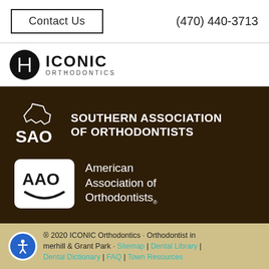Contact Us | (470) 440-3713
[Figure (logo): Iconic Orthodontics logo: black circle with letter I inside, text ICONIC ORTHODONTICS]
[Figure (infographic): Dark background section with SAO (Southern Association of Orthodontists) logo and AAO (American Association of Orthodontists) logo]
® 2020 ICONIC Orthodontics · Orthodontist in Omerhill & Grant Park · Sitemap | Dental Library | Dental Dictionary | FAQ | Town Resources